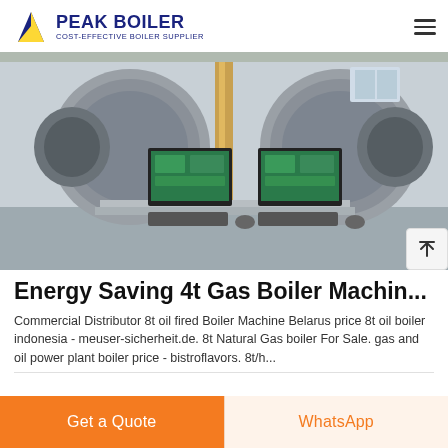PEAK BOILER COST-EFFECTIVE BOILER SUPPLIER
[Figure (photo): Industrial boiler room with two large cylindrical gas boilers and two computer workstations with monitors showing control interfaces in a factory setting]
Energy Saving 4t Gas Boiler Machin...
Commercial Distributor 8t oil fired Boiler Machine Belarus price 8t oil boiler indonesia - meuser-sicherheit.de. 8t Natural Gas boiler For Sale. gas and oil power plant boiler price - bistroflavors. 8t/h...
Get a Quote   WhatsApp